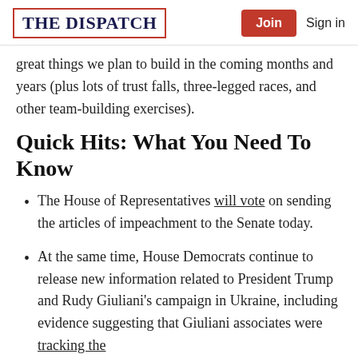The Dispatch | Join | Sign in
great things we plan to build in the coming months and years (plus lots of trust falls, three-legged races, and other team-building exercises).
Quick Hits: What You Need To Know
The House of Representatives will vote on sending the articles of impeachment to the Senate today.
At the same time, House Democrats continue to release new information related to President Trump and Rudy Giuliani's campaign in Ukraine, including evidence suggesting that Giuliani associates were tracking the